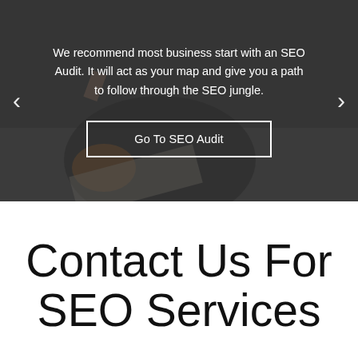[Figure (photo): A woman in a dark jacket and orange sweater holding a map or paper, with a semi-transparent dark overlay. Carousel navigation arrows on left and right. Text overlay reads: 'We recommend most business start with an SEO Audit. It will act as your map and give you a path to follow through the SEO jungle.' with a 'Go To SEO Audit' button.]
Contact Us For SEO Services